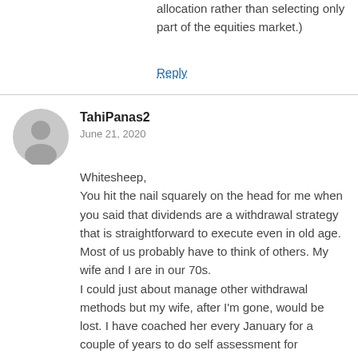allocation rather than selecting only part of the equities market.)
Reply
TahiPanas2
June 21, 2020
Whitesheep,
You hit the nail squarely on the head for me when you said that dividends are a withdrawal strategy that is straightforward to execute even in old age.
Most of us probably have to think of others. My wife and I are in our 70s.
I could just about manage other withdrawal methods but my wife, after I'm gone, would be lost. I have coached her every January for a couple of years to do self assessment for dividends from our joint account using easy to follow Consolidated Tax Certificates. However, dealing with reported capital gains tax would be a step too far. Choosing shares to sell would be beyond her.
So as not to paint an image of her as a dumb cluck, I should say she is well educated with a masters degree